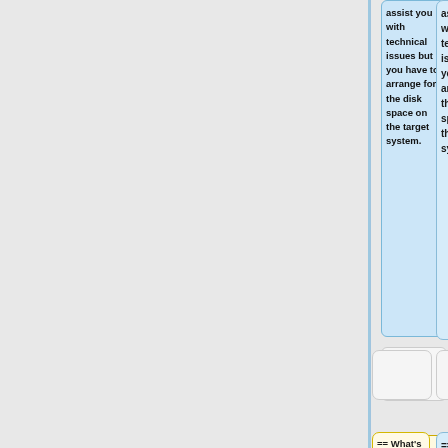[Figure (other): Wiki diff interface showing two columns of content boxes. Left gray panel occupies most of the page. A blue vertical divider line separates the left from the right. On the right side, top blue highlighted box with text: 'assist you with technical issues but you have to arrange for the disk space on the target system.' Below are blank/empty boxes, then a yellow highlighted box with '== What's Different ? ==' and a blue box with '=== Why ? ==='. A minus and plus symbol flank the middle row. Bottom blue box with text: 'Unfortunately, operating expenses will no longer be covered by CFI MSI-2 resources. The only way we can continue to']